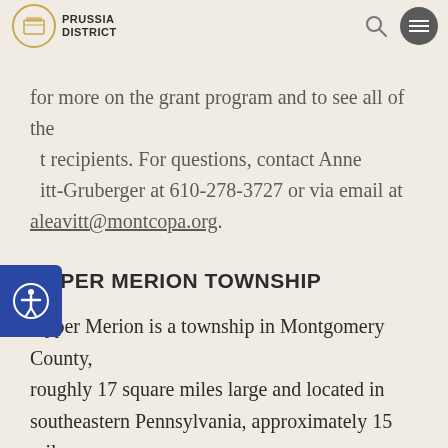PRUSSIA DISTRICT
for more on the grant program and to see all of the grant recipients. For questions, contact Anne Vitt-Gruberger at 610-278-3727 or via email at aleavitt@montcopa.org.
UPPER MERION TOWNSHIP
Upper Merion is a township in Montgomery County, roughly 17 square miles large and located in southeastern Pennsylvania, approximately 15 miles from Philadelphia. It is one of the most vibrant centers of business and recreation in Pennsylvania: home to over 33,000 residents, hosts over 63,000...